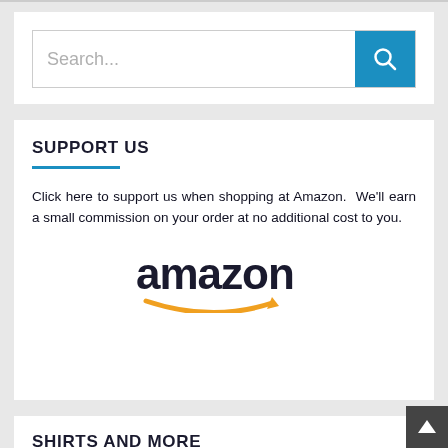[Figure (screenshot): Search bar with blue search button containing magnifying glass icon]
SUPPORT US
Click here to support us when shopping at Amazon.  We'll earn a small commission on your order at no additional cost to you.
[Figure (logo): Amazon logo with orange arrow smile]
SHIRTS AND MORE
[Figure (photo): Blue t-shirt partially visible at bottom of page]